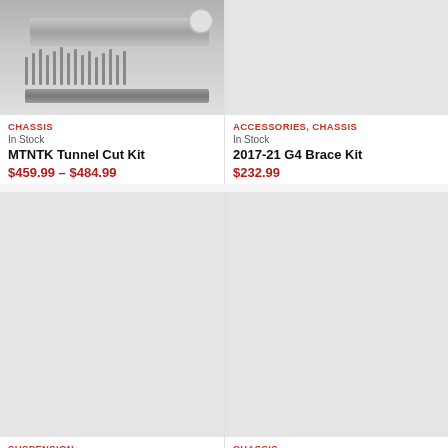[Figure (photo): MTNTK Tunnel Cut Kit product image showing metal bar/rail with pins and strips]
CHASSIS
In Stock
MTNTK Tunnel Cut Kit
$459.99 – $484.99
[Figure (photo): 2017-21 G4 Brace Kit product image, light gray placeholder]
ACCESSORIES, CHASSIS
In Stock
2017-21 G4 Brace Kit
$232.99
[Figure (photo): Billet Wheel 5 3/8 1 Pair product image, gray placeholder]
SUSPENSION
In Stock
Billet Wheel 5 3/8" 1 Pair
[Figure (photo): 2 Wheel Axle Kit product image, gray placeholder]
CHASSIS
Ships in 3 - 5 Days
2 Wheel Axle Kit